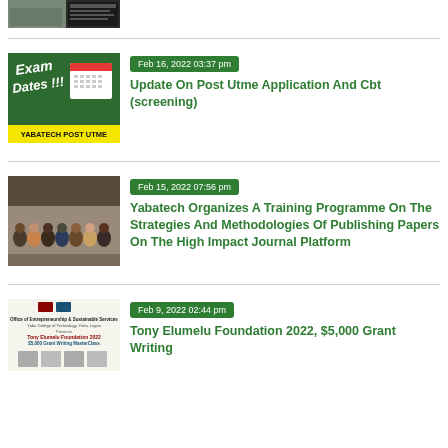[Figure (photo): Partial top thumbnail showing a group photo split with a dark overlay panel with text]
[Figure (illustration): Green chalkboard with 'Exam Dates!!!' text and a calendar graphic, yellow bottom bar reading 'YABATECH POST UTME']
Feb 16, 2022 03:37 pm
Update On Post Utme Application And Cbt (screening)
[Figure (photo): Group of people standing in front of a building for a training programme]
Feb 15, 2022 07:56 pm
Yabatech Organizes A Training Programme On The Strategies And Methodologies Of Publishing Papers On The High Impact Journal Platform
[Figure (illustration): Tony Elumelu Foundation 2022 $5,000 Grant Writing MasterClass announcement with speakers' photos]
Feb 9, 2022 02:44 pm
Tony Elumelu Foundation 2022, $5,000 Grant Writing